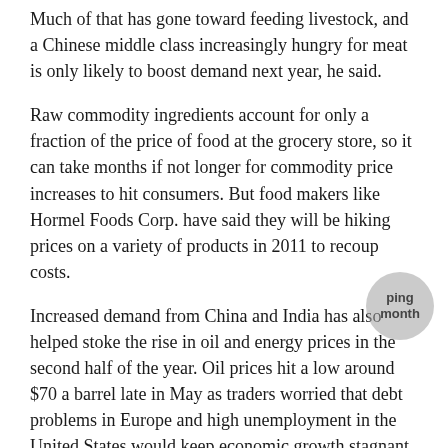Much of that has gone toward feeding livestock, and a Chinese middle class increasingly hungry for meat is only likely to boost demand next year, he said.
Raw commodity ingredients account for only a fraction of the price of food at the grocery store, so it can take months if not longer for commodity price increases to hit consumers. But food makers like Hormel Foods Corp. have said they will be hiking prices on a variety of products in 2011 to recoup costs.
Increased demand from China and India has also helped stoke the rise in oil and energy prices in the second half of the year. Oil prices hit a low around $70 a barrel late in May as traders worried that debt problems in Europe and high unemployment in the United States would keep economic growth stagnant and energy demand low. But increasing demand in the developing world has changed all that. Oil surpassed $90 a barrel this month and remained above the threshold to close the year at $91.38 a barrel.